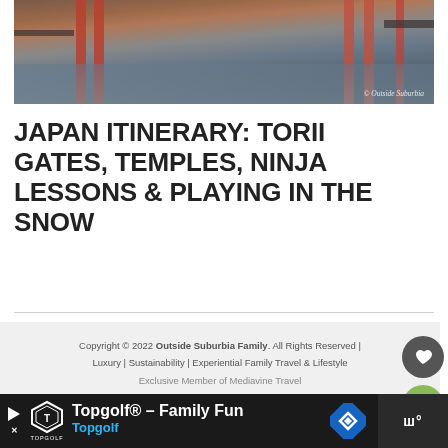[Figure (photo): Torii gate over water with reflections, docks visible, watermark reading '© Outside Suburbia']
JAPAN ITINERARY: TORII GATES, TEMPLES, NINJA LESSONS & PLAYING IN THE SNOW
Copyright © 2022 Outside Suburbia Family. All Rights Reserved | Luxury | Sustainability | Experiential Family Travel & Lifestyle
Exclusive Member of Mediavine Travel